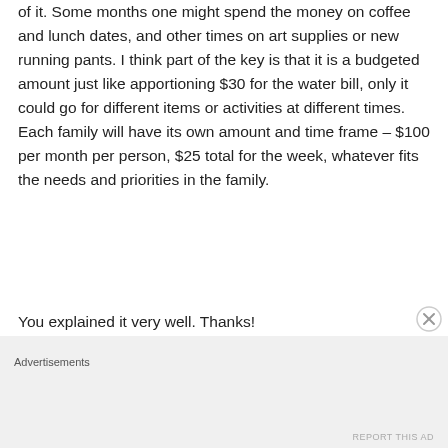of it. Some months one might spend the money on coffee and lunch dates, and other times on art supplies or new running pants. I think part of the key is that it is a budgeted amount just like apportioning $30 for the water bill, only it could go for different items or activities at different times. Each family will have its own amount and time frame – $100 per month per person, $25 total for the week, whatever fits the needs and priorities in the family.
You explained it very well. Thanks!
Sent from my iPad
Advertisements